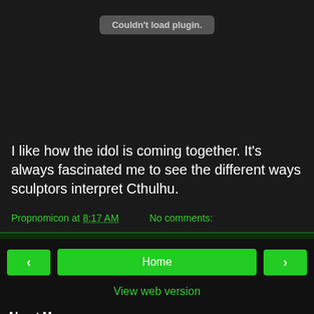[Figure (screenshot): Dark background area with 'Couldn't load plugin.' message in a gray rounded box]
I like how the idol is coming together. It's always fascinated me to see the different ways sculptors interpret Cthulhu.
Propnomicon at 8:17 AM    No comments:
[Figure (screenshot): Navigation bar with left arrow button, Home button, right arrow button, and View web version link]
About Me
Propnomicon